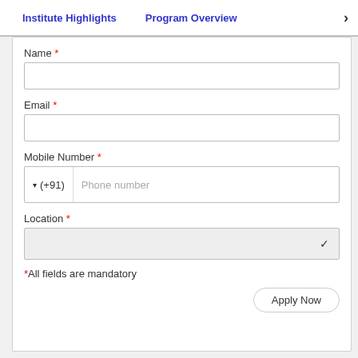Institute Highlights    Program Overview  >
Name *
Email *
Mobile Number *
▾ (+91)   Phone number
Location *
*All fields are mandatory
Apply Now